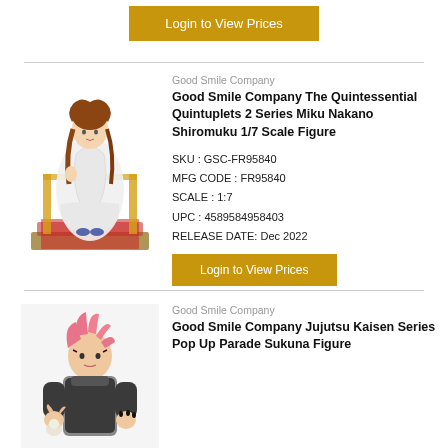[Figure (other): Login to View Prices button at top of page]
[Figure (photo): Good Smile Company The Quintessential Quintuplets 2 Series Miku Nakano Shiromuku 1/7 Scale Figure product image - anime figure in white kimono on red and gold display stand]
Good Smile Company
Good Smile Company The Quintessential Quintuplets 2 Series Miku Nakano Shiromuku 1/7 Scale Figure
SKU : GSC-FR95840
MFG CODE : FR95840
SCALE : 1:7
UPC : 4589584958403
RELEASE DATE: Dec 2022
[Figure (other): Login to View Prices button]
[Figure (photo): Good Smile Company Jujutsu Kaisen Series Pop Up Parade Sukuna Figure product image - anime figure with pink hair]
Good Smile Company
Good Smile Company Jujutsu Kaisen Series Pop Up Parade Sukuna Figure